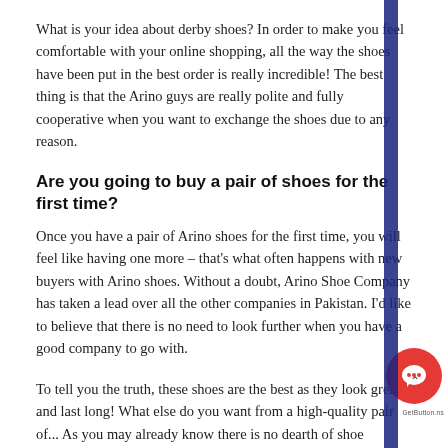What is your idea about derby shoes? In order to make you feel comfortable with your online shopping, all the way the shoes have been put in the best order is really incredible! The best thing is that the Arino guys are really polite and fully cooperative when you want to exchange the shoes due to any reason.
Are you going to buy a pair of shoes for the first time?
Once you have a pair of Arino shoes for the first time, you will feel like having one more – that's what often happens with new buyers with Arino shoes. Without a doubt, Arino Shoe Company has taken a lead over all the other companies in Pakistan. I'd like to believe that there is no need to look further when you have a good company to go with.
To tell you the truth, these shoes are the best as they look great and last long! What else do you want from a high-quality pair o... As you may already know there is no dearth of shoe compa... Pakistan, but there is always a lack of shoe companies that deliver...